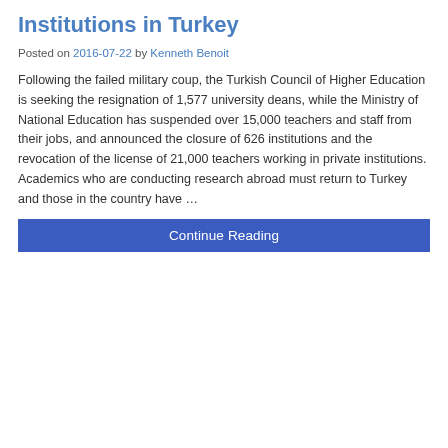Institutions in Turkey
Posted on 2016-07-22 by Kenneth Benoit
Following the failed military coup, the Turkish Council of Higher Education is seeking the resignation of 1,577 university deans, while the Ministry of National Education has suspended over 15,000 teachers and staff from their jobs, and announced the closure of 626 institutions and the revocation of the license of 21,000 teachers working in private institutions. Academics who are conducting research abroad must return to Turkey and those in the country have …
Continue Reading